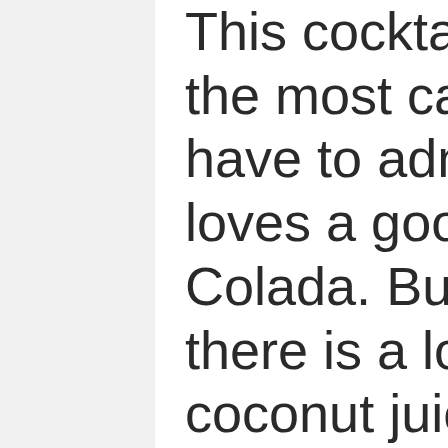This cocktail probably has the most calories. But you have to admit: everybody loves a good Piña Colada. But fortunately, there is a lot of sugar and coconut juice in this beverage and so it doesn't fit in your dieting program. You can solve this problem by using rum flavored with coconut. This way, you can cut at least 300 calories, and you still have more or less the taste of the well known coconut beverage. Poor some flavored rum, some agave syrup and some strawberries in a mixer. Mix them up and put them in a glass with ice. That's